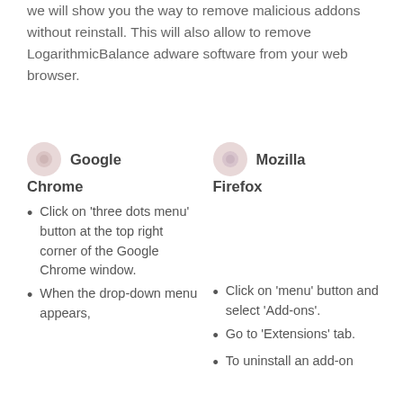we will show you the way to remove malicious addons without reinstall. This will also allow to remove LogarithmicBalance adware software from your web browser.
Google Chrome
Mozilla Firefox
Click on ‘three dots menu’ button at the top right corner of the Google Chrome window.
When the drop-down menu appears,
Click on ‘menu’ button and select ‘Add-ons’.
Go to ‘Extensions’ tab.
To uninstall an add-on